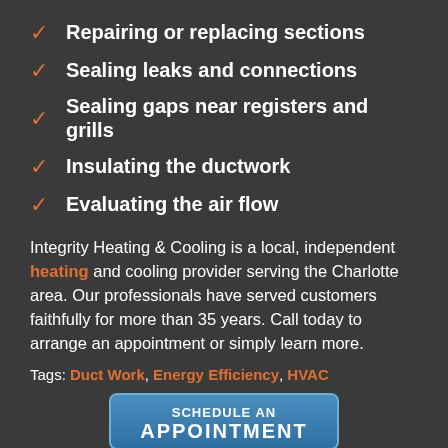Repairing or replacing sections
Sealing leaks and connections
Sealing gaps near registers and grills
Insulating the ductwork
Evaluating the air flow
Integrity Heating & Cooling is a local, independent heating and cooling provider serving the Charlotte area. Our professionals have served customers faithfully for more than 35 years. Call today to arrange an appointment or simply learn more.
Tags: Duct Work, Energy Efficiency, HVAC
[Figure (other): Schedule an Appointment button in blue]